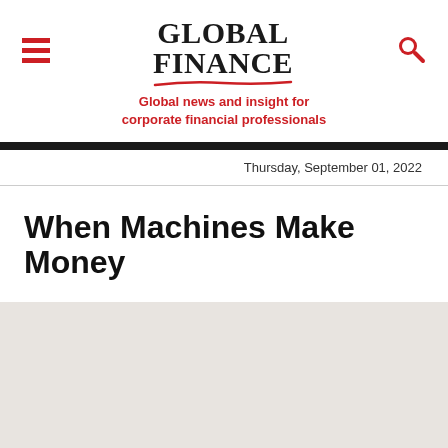[Figure (logo): Global Finance magazine logo with red swash underline and hamburger menu and search icon]
Global news and insight for corporate financial professionals
Thursday, September 01, 2022
When Machines Make Money